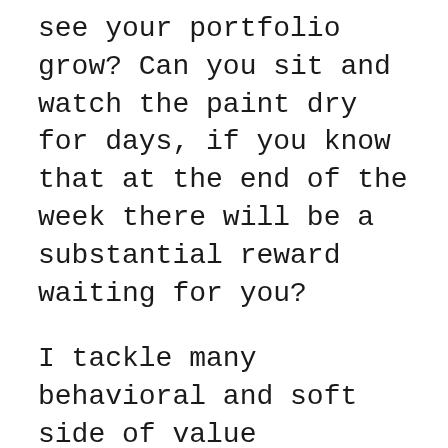see your portfolio grow? Can you sit and watch the paint dry for days, if you know that at the end of the week there will be a substantial reward waiting for you?
I tackle many behavioral and soft side of value investing on these pages. Sometimes I also talk about the concepts. No one has ever become a good investor without building their core base of correct foundational